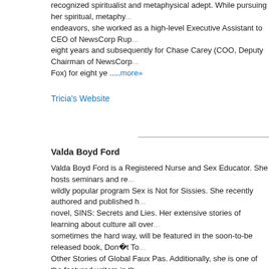recognized spiritualist and metaphysical adept. While pursuing her spiritual, metaphysical endeavors, she worked as a high-level Executive Assistant to CEO of NewsCorp Rupert Murdoch for eight years and subsequently for Chase Carey (COO, Deputy Chairman of NewsCorp, President of Fox) for eight ye .....more»
Tricia's Website
Valda Boyd Ford
Valda Boyd Ford is a Registered Nurse and Sex Educator. She hosts seminars and runs the wildly popular program Sex is Not for Sissies. She recently authored and published her debut novel, SINS: Secrets and Lies. Her extensive stories of learning about culture all over the world, sometimes the hard way, will be featured in the soon-to-be released book, Don't Touch That! and Other Stories of Global Faux Pas. Additionally, she is one of the featured writers in the .....more»
Valda's Website
Valerie Martin-Stewart
Valerie Martin-Stewart, D. Min is an Ordained Minister, Motivational Speaker, National Electrical Engineer, Prolific Author, Founder and Executive Director of a 501 (c) (3)